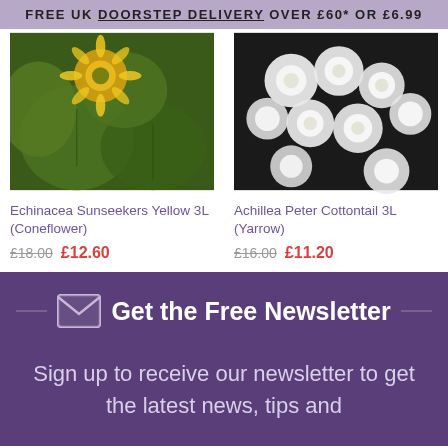FREE UK DOORSTEP DELIVERY OVER £60* OR £6.99
[Figure (photo): Close-up of Echinacea Sunseekers Yellow flower with green leaves and yellow petals]
Echinacea Sunseekers Yellow 3L (Coneflower)
£18.00  £12.60
[Figure (photo): Close-up of Achillea Peter Cottontail white flowers (Yarrow) against dark background]
Achillea Peter Cottontail 3L (Yarrow)
£16.00  £11.20
Get the Free Newsletter
Sign up to receive our newsletter to get the latest news, tips and